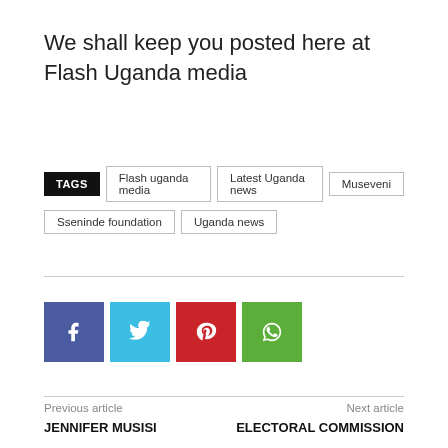We shall keep you posted here at Flash Uganda media
TAGS  Flash uganda media  Latest Uganda news  Museveni  Sseninde foundation  Uganda news
[Figure (infographic): Social media sharing buttons: Facebook (blue), Twitter (cyan), Pinterest (red), WhatsApp (green)]
Previous article
JENNIFER MUSISI
Next article
ELECTORAL COMMISSION